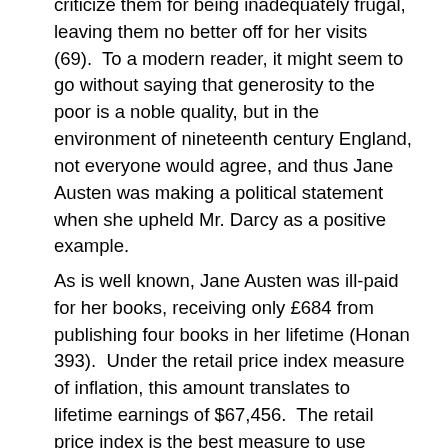criticize them for being inadequately frugal, leaving them no better off for her visits (69). To a modern reader, it might seem to go without saying that generosity to the poor is a noble quality, but in the environment of nineteenth century England, not everyone would agree, and thus Jane Austen was making a political statement when she upheld Mr. Darcy as a positive example.
As is well known, Jane Austen was ill-paid for her books, receiving only £684 from publishing four books in her lifetime (Honan 393). Under the retail price index measure of inflation, this amount translates to lifetime earnings of $67,456. The retail price index is the best measure to use here, since the Austens were not wealthy enough to take advantage of the economies of scale captured in other measures